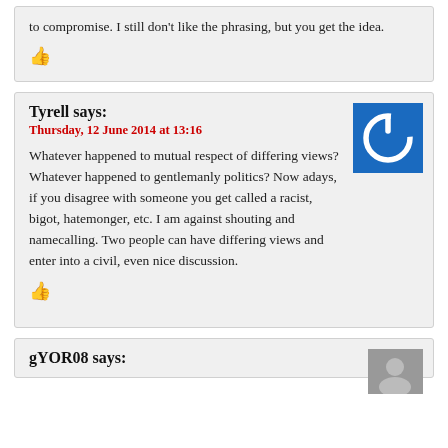to compromise. I still don't like the phrasing, but you get the idea.
👍
Tyrell says:
Thursday, 12 June 2014 at 13:16
[Figure (illustration): Blue square avatar with white power button icon]
Whatever happened to mutual respect of differing views? Whatever happened to gentlemanly politics? Now adays, if you disagree with someone you get called a racist, bigot, hatemonger, etc. I am against shouting and namecalling. Two people can have differing views and enter into a civil, even nice discussion.
👍
gYOR08 says: